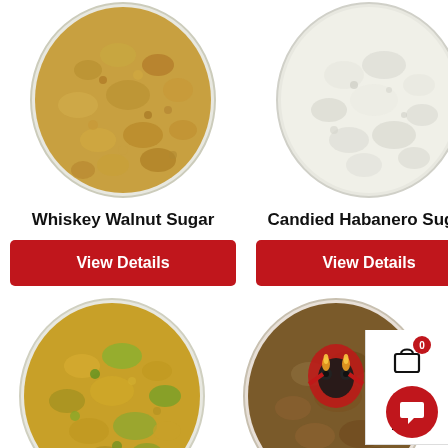[Figure (photo): Top-down view of Whiskey Walnut Sugar in a round container, showing golden-brown granular sugar]
[Figure (photo): Top-down view of Candied Habanero Sugar in a round container, showing white/cream fine granular sugar]
Whiskey Walnut Sugar
Candied Habanero Sugar
View Details
View Details
[Figure (photo): Top-down view of a yellow-green chunky sugar mixture in a round container]
[Figure (photo): Top-down view of a dark brown sugar with skull/warrior logo decoration on top in a round container]
Select options